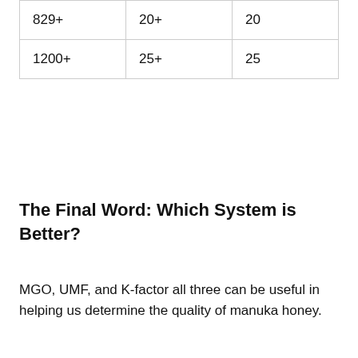| 829+ | 20+ | 20 |
| 1200+ | 25+ | 25 |
The Final Word: Which System is Better?
MGO, UMF, and K-factor all three can be useful in helping us determine the quality of manuka honey.